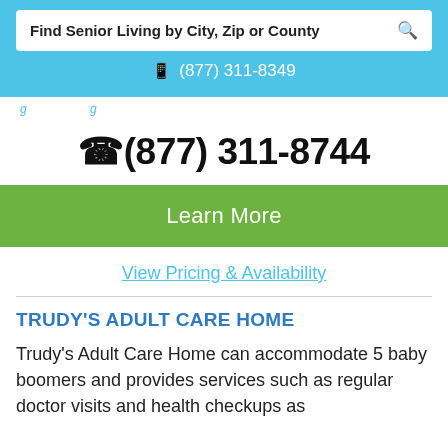Find Senior Living by City, Zip or County
(877) 311-8349
(877) 311-8744
Learn More
View Pricing & Availability
TRUDY'S ADULT CARE HOME
Trudy's Adult Care Home can accommodate 5 baby boomers and provides services such as regular doctor visits and health checkups as